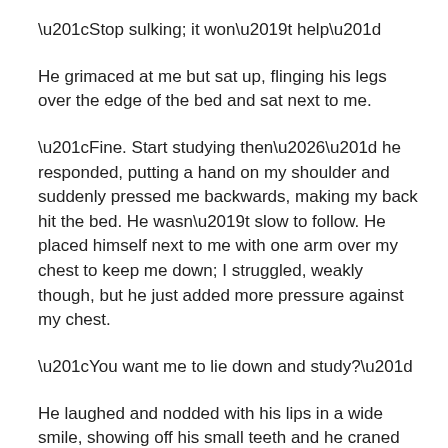“Stop sulking; it won’t help”
He grimaced at me but sat up, flinging his legs over the edge of the bed and sat next to me.
“Fine. Start studying then…” he responded, putting a hand on my shoulder and suddenly pressed me backwards, making my back hit the bed. He wasn’t slow to follow. He placed himself next to me with one arm over my chest to keep me down; I struggled, weakly though, but he just added more pressure against my chest.
“You want me to lie down and study?”
He laughed and nodded with his lips in a wide smile, showing off his small teeth and he craned his neck, kissing me on the cheek.